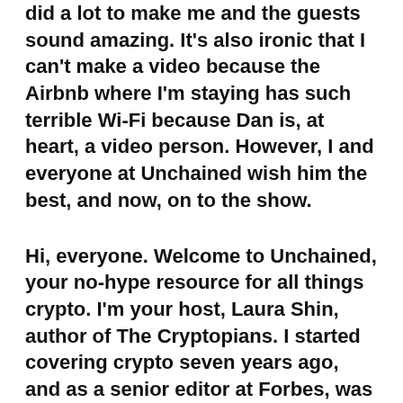did a lot to make me and the guests sound amazing. It's also ironic that I can't make a video because the Airbnb where I'm staying has such terrible Wi-Fi because Dan is, at heart, a video person. However, I and everyone at Unchained wish him the best, and now, on to the show.
Hi, everyone. Welcome to Unchained, your no-hype resource for all things crypto. I'm your host, Laura Shin, author of The Cryptopians. I started covering crypto seven years ago, and as a senior editor at Forbes, was the first mainstream media reporter to cover cryptocurrency full-time. This is the May 31, 2022 episode of Unchained.
This episode of Unchained is brought to you by